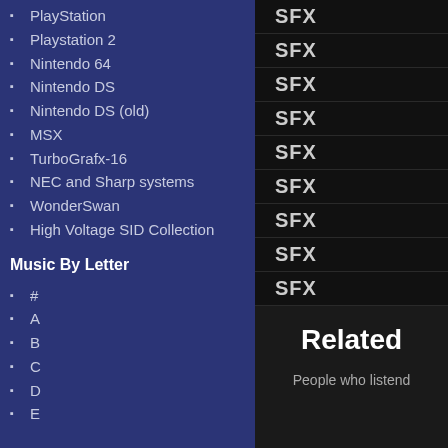PlayStation
Playstation 2
Nintendo 64
Nintendo DS
Nintendo DS (old)
MSX
TurboGrafx-16
NEC and Sharp systems
WonderSwan
High Voltage SID Collection
Music By Letter
#
A
B
C
D
E
SFX
SFX
SFX
SFX
SFX
SFX
SFX
SFX
SFX
Related
People who listend